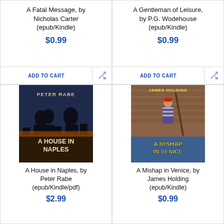A Fatal Message, by Nicholas Carter (epub/Kindle)
$0.99
ADD TO CART
A Gentleman of Leisure, by P.G. Wodehouse (epub/Kindle)
$0.99
ADD TO CART
[Figure (photo): Book cover: A House in Naples by Peter Rabe — dark moody figures with silhouetted people, title text at bottom]
A House in Naples, by Peter Rabe (epub/Kindle/pdf)
$2.99
[Figure (photo): Book cover: A Mishap in Venice by James Holding — colorful cover with a gondolier figure, yellow title text]
A Mishap in Venice, by James Holding (epub/Kindle)
$0.99